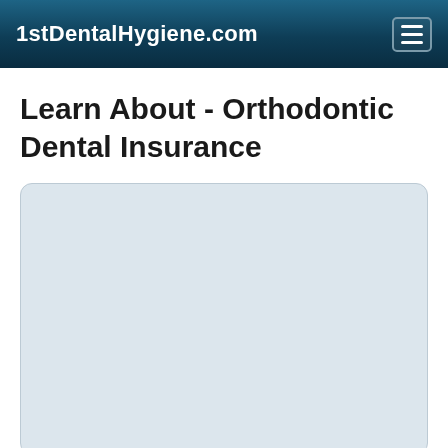1stDentalHygiene.com
Learn About - Orthodontic Dental Insurance
[Figure (other): Light blue-grey rounded rectangle placeholder content box]